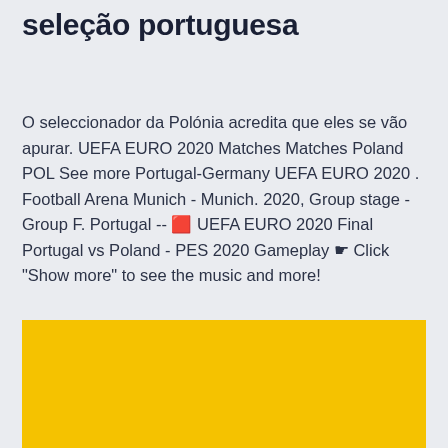seleção portuguesa
O seleccionador da Polónia acredita que eles se vão apurar. UEFA EURO 2020 Matches Matches Poland POL See more Portugal-Germany UEFA EURO 2020 . Football Arena Munich - Munich. 2020, Group stage - Group F. Portugal -- 🟥 UEFA EURO 2020 Final Portugal vs Poland - PES 2020 Gameplay ☛ Click "Show more" to see the music and more!
[Figure (other): Yellow/gold colored rectangular block filling the bottom portion of the page]